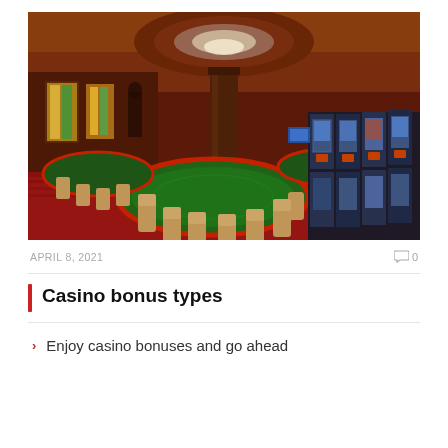[Figure (photo): Interior of a luxury casino showing green felt card tables with red trim, bar-style seating chairs, ornate wooden columns, colorful stained glass decorations, a curved ceiling with chandelier lighting, and rows of slot machines along the right wall, all on a red patterned carpet.]
APRIL 8, 2021
0
Casino bonus types
Enjoy casino bonuses and go ahead